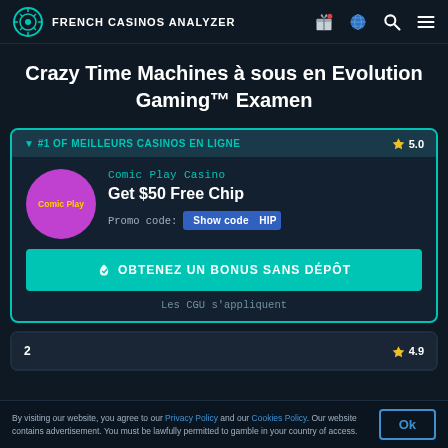FRENCH CASINOS ANALYZER
Crazy Time Machines à sous en Evolution Gaming™ Examen
#1 OF MEILLEURS CASINOS EN LIGNE  ★ 5.0
Comic Play Casino
Get $50 Free Chip
Promo code: Show code HIP
OBTENEZ UN BONUS SANS DÉPÔT
Les CGU s'appliquent
2  ★ 4.9
By visiting our website, you agree to our Privacy Policy and our Cookies Policy. Our website contains advertisement. You must be lawfully permitted to gamble in your country of access.